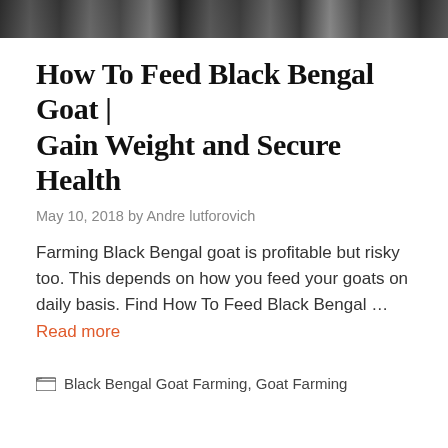[Figure (photo): Photo strip of black and white goats at the top of the page]
How To Feed Black Bengal Goat | Gain Weight and Secure Health
May 10, 2018 by Andre lutforovich
Farming Black Bengal goat is profitable but risky too. This depends on how you feed your goats on daily basis. Find How To Feed Black Bengal … Read more
Black Bengal Goat Farming, Goat Farming